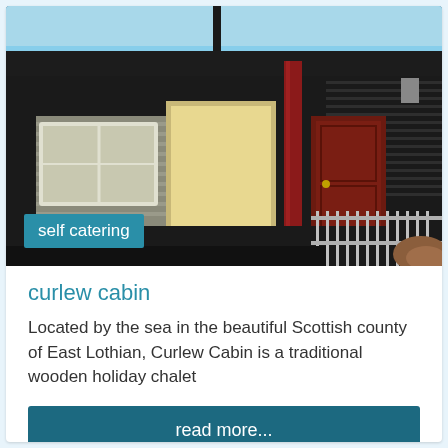[Figure (photo): Exterior photograph of Curlew Cabin — a dark wooden holiday chalet with horizontal timber cladding, white-framed windows, a red support column, a dark red front door, blue sky in background, and a metal fence in the foreground. A teal badge reading 'self catering' is overlaid on the lower left of the image.]
curlew cabin
Located by the sea in the beautiful Scottish county of East Lothian, Curlew Cabin is a traditional wooden holiday chalet
read more...